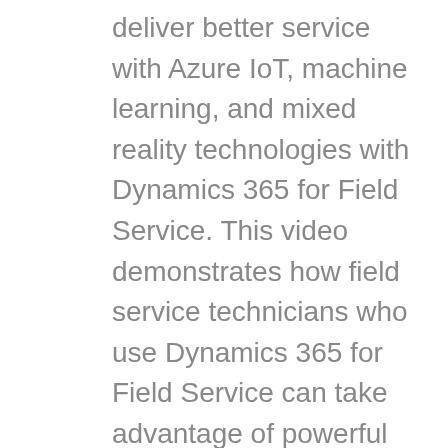deliver better service with Azure IoT, machine learning, and mixed reality technologies with Dynamics 365 for Field Service. This video demonstrates how field service technicians who use Dynamics 365 for Field Service can take advantage of powerful tools that support greater efficiency and productivity, such as mobile device alerts that inform them of new bookings, an app that lets them view work orders and get prepared for service calls, and with 3-D animations of the repair steps needed to resolve the issue.